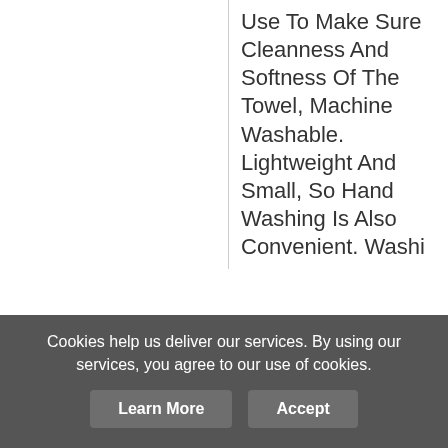Use To Make Sure Cleanness And Softness Of The Towel, Machine Washable. Lightweight And Small, So Hand Washing Is Also Convenient. Washi...
[Figure (infographic): Social sharing buttons: Facebook (blue), Twitter (blue), Pinterest (red), Tumblr (dark blue), Share/Plus (blue)]
Cookies help us deliver our services. By using our services, you agree to our use of cookies.